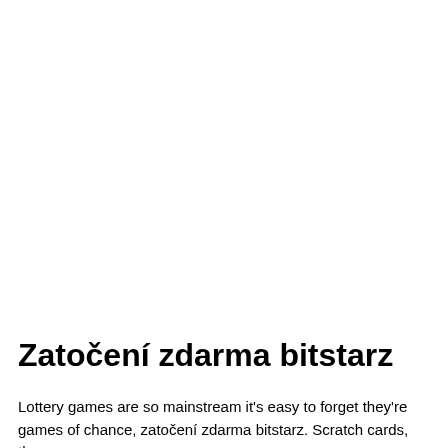Zatočení zdarma bitstarz
Lottery games are so mainstream it's easy to forget they're games of chance, zatočení zdarma bitstarz. Scratch cards, the